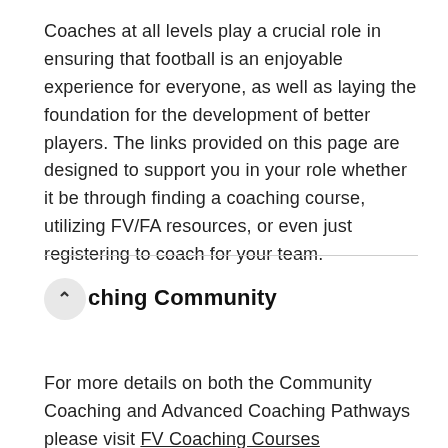Coaches at all levels play a crucial role in ensuring that football is an enjoyable experience for everyone, as well as laying the foundation for the development of better players. The links provided on this page are designed to support you in your role whether it be through finding a coaching course, utilizing FV/FA resources, or even just registering to coach for your team.
Coaching Community
For more details on both the Community Coaching and Advanced Coaching Pathways please visit FV Coaching Courses